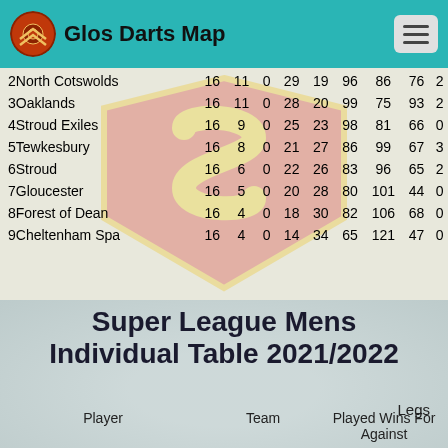Glos Darts Map
| # | Team | P | W | D | For | Ag | Legs F | Legs A | Pts | B |
| --- | --- | --- | --- | --- | --- | --- | --- | --- | --- | --- |
| 2 | North Cotswolds | 16 | 11 | 0 | 29 | 19 | 96 | 86 | 76 | 2 |
| 3 | Oaklands | 16 | 11 | 0 | 28 | 20 | 99 | 75 | 93 | 2 |
| 4 | Stroud Exiles | 16 | 9 | 0 | 25 | 23 | 98 | 81 | 66 | 0 |
| 5 | Tewkesbury | 16 | 8 | 0 | 21 | 27 | 86 | 99 | 67 | 3 |
| 6 | Stroud | 16 | 6 | 0 | 22 | 26 | 83 | 96 | 65 | 2 |
| 7 | Gloucester | 16 | 5 | 0 | 20 | 28 | 80 | 101 | 44 | 0 |
| 8 | Forest of Dean | 16 | 4 | 0 | 18 | 30 | 82 | 106 | 68 | 0 |
| 9 | Cheltenham Spa | 16 | 4 | 0 | 14 | 34 | 65 | 121 | 47 | 0 |
Super League Mens Individual Table 2021/2022
Legs
Player    Team    Played Wins For Against